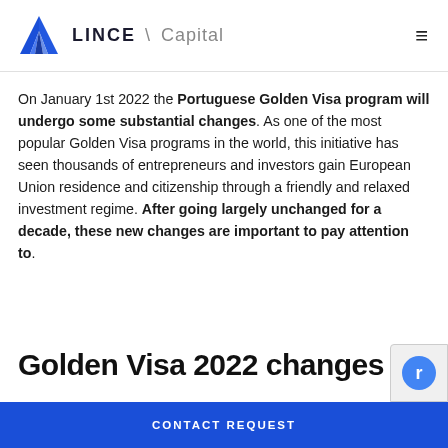LINCE \ Capital
On January 1st 2022 the Portuguese Golden Visa program will undergo some substantial changes. As one of the most popular Golden Visa programs in the world, this initiative has seen thousands of entrepreneurs and investors gain European Union residence and citizenship through a friendly and relaxed investment regime. After going largely unchanged for a decade, these new changes are important to pay attention to.
Golden Visa 2022 changes
Changes to the Golden Visa investment funds...
CONTACT REQUEST